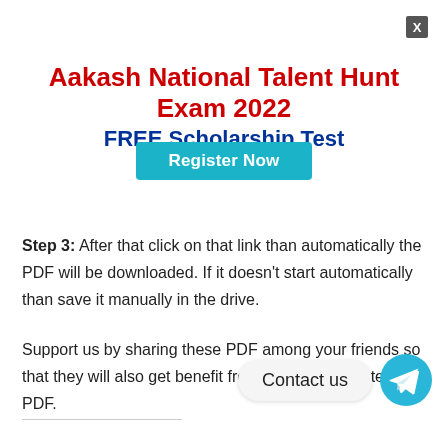[Figure (infographic): Close button (X) in top right corner]
Aakash National Talent Hunt Exam 2022 FREE Scholarship Test
[Figure (infographic): Register Now button (teal/cyan colored button)]
Step 3: After that click on that link than automatically the PDF will be downloaded. If it doesn’t start automatically than save it manually in the drive.
Support us by sharing these PDF among your friends so that they will also get benefit from these Short Notes PDF.
[Figure (infographic): Contact us button with Telegram icon]